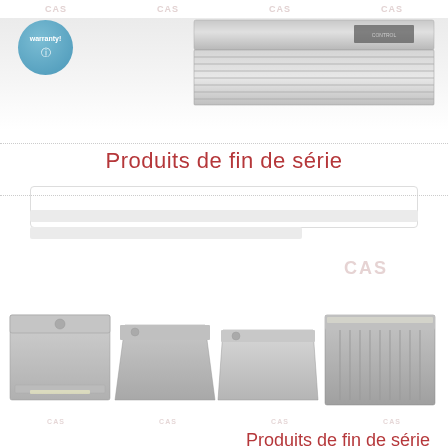CAS CAS CAS CAS
[Figure (photo): Top portion of a stainless steel range hood appliance, shown from below/front angle with a warranty badge (blue circle) on the left]
Produits de fin de série
[Figure (logo): CAS logo in light red/pink color, centered-right on page]
[Figure (photo): Four stainless steel range hoods shown in a row at the bottom of the page, each with a small CAS logo below]
Produits de fin de série